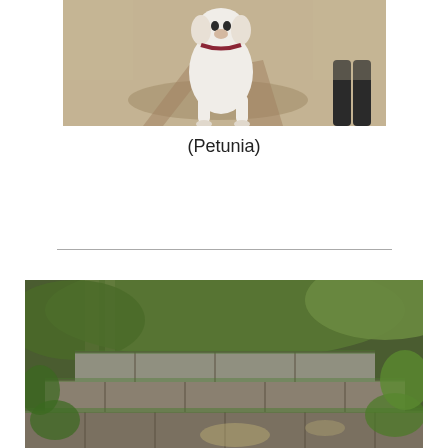[Figure (photo): A white dog standing on sandy ground outdoors, wearing a collar/harness, viewed from the front. The dog casts a shadow on the sand. Part of a person's legs visible in the background.]
(Petunia)
[Figure (photo): Outdoor scene with old stone steps or ruins covered with moss and surrounded by green leafy vegetation and trees. The stone structure appears weathered and overgrown.]